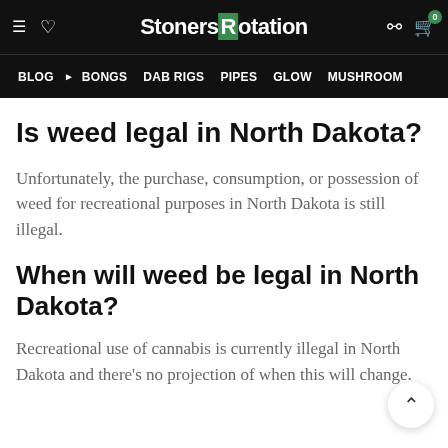StonersRotation — BLOG | BONGS | DAB RIGS | PIPES | GLOW | MUSHROOM
Is weed legal in North Dakota?
Unfortunately, the purchase, consumption, or possession of weed for recreational purposes in North Dakota is still illegal.
When will weed be legal in North Dakota?
Recreational use of cannabis is currently illegal in North Dakota and there's no projection of when this will change.